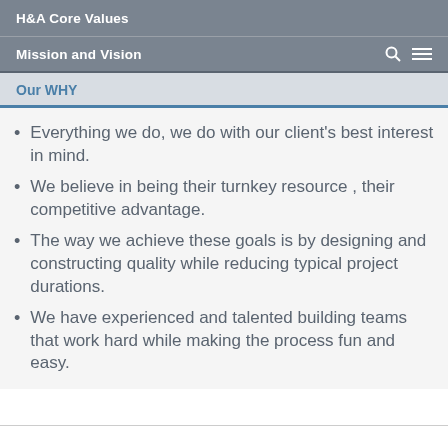H&A Core Values
Mission and Vision
Our WHY
Everything we do, we do with our client's best interest in mind.
We believe in being their turnkey resource , their competitive advantage.
The way we achieve these goals is by designing and constructing quality while reducing typical project durations.
We have experienced and talented building teams that work hard while making the process fun and easy.